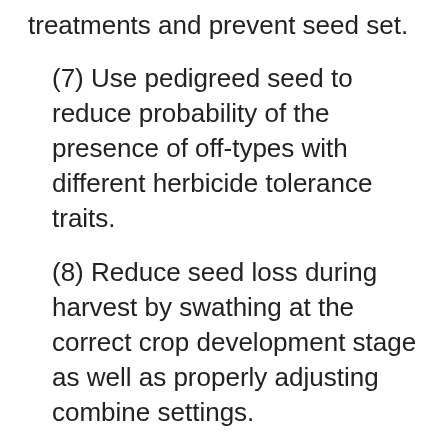treatments and prevent seed set.
(7) Use pedigreed seed to reduce probability of the presence of off-types with different herbicide tolerance traits.
(8) Reduce seed loss during harvest by swathing at the correct crop development stage as well as properly adjusting combine settings.
Adoption of proper management practices and removal of escaped volunteer B. napus plants prior to flowering will help to prevent seedbank replenishment and long-